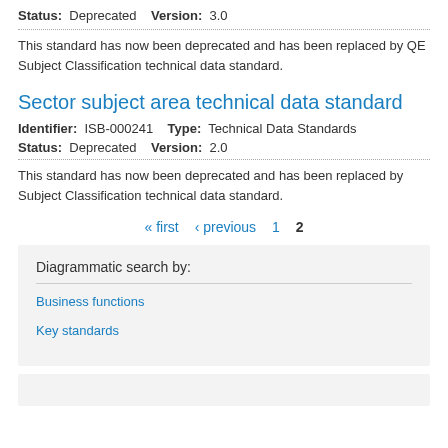Status: Deprecated    Version: 3.0
This standard has now been deprecated and has been replaced by QE Subject Classification technical data standard.
Sector subject area technical data standard
Identifier: ISB-000241    Type: Technical Data Standards
Status: Deprecated    Version: 2.0
This standard has now been deprecated and has been replaced by Subject Classification technical data standard.
« first  ‹ previous  1  2
Diagrammatic search by:
Business functions
Key standards